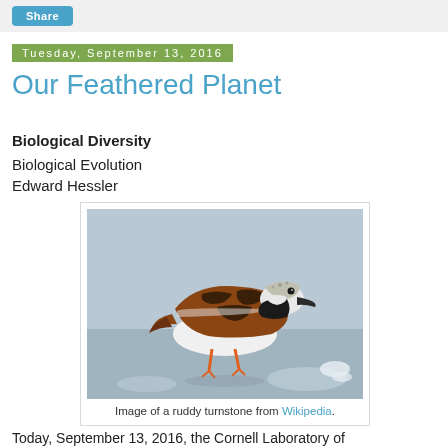Share
Tuesday, September 13, 2016
Our Feathered Planet
Biological Diversity
Biological Evolution
Edward Hessler
[Figure (photo): A ruddy turnstone bird standing on a wet sandy beach, viewed from the side with its beak pointed down. The bird has distinctive orange-brown, black, and white plumage and orange legs.]
Image of a ruddy turnstone from Wikipedia.
Today, September 13, 2016, the Cornell Laboratory of